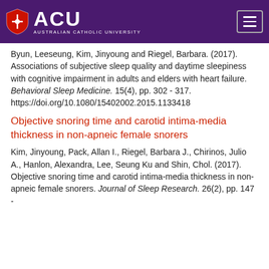ACU Australian Catholic University
Byun, Leeseung, Kim, Jinyoung and Riegel, Barbara. (2017). Associations of subjective sleep quality and daytime sleepiness with cognitive impairment in adults and elders with heart failure. Behavioral Sleep Medicine. 15(4), pp. 302 - 317. https://doi.org/10.1080/15402002.2015.1133418
Objective snoring time and carotid intima-media thickness in non-apneic female snorers
Kim, Jinyoung, Pack, Allan I., Riegel, Barbara J., Chirinos, Julio A., Hanlon, Alexandra, Lee, Seung Ku and Shin, Chol. (2017). Objective snoring time and carotid intima-media thickness in non-apneic female snorers. Journal of Sleep Research. 26(2), pp. 147 -